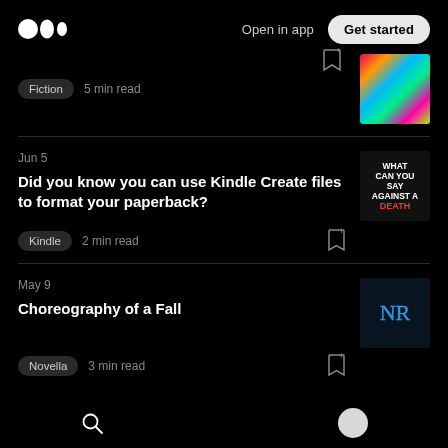Medium logo | Open in app | Get started
Fiction  5 min read
Jun 5
Did you know you can use Kindle Create files to format your paperback?
Kindle  2 min read
May 9
Choreography of a Fall
Novella  3 min read